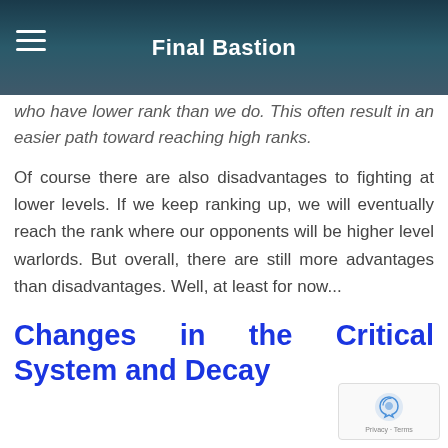Final Bastion
who have lower rank than we do. This often result in an easier path toward reaching high ranks.
Of course there are also disadvantages to fighting at lower levels. If we keep ranking up, we will eventually reach the rank where our opponents will be higher level warlords. But overall, there are still more advantages than disadvantages. Well, at least for now...
Changes in the Critical System and Decay